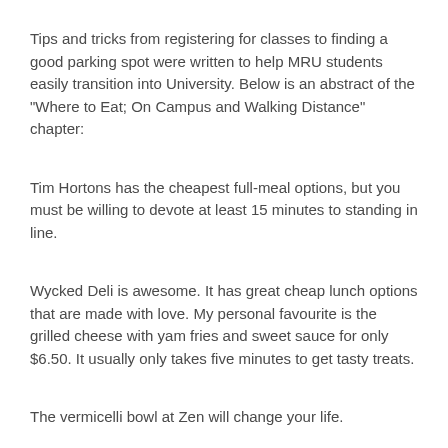Tips and tricks from registering for classes to finding a good parking spot were written to help MRU students easily transition into University. Below is an abstract of the "Where to Eat; On Campus and Walking Distance" chapter:
Tim Hortons has the cheapest full-meal options, but you must be willing to devote at least 15 minutes to standing in line.
Wycked Deli is awesome. It has great cheap lunch options that are made with love. My personal favourite is the grilled cheese with yam fries and sweet sauce for only $6.50. It usually only takes five minutes to get tasty treats.
The vermicelli bowl at Zen will change your life.
If you are on a budget, the salad bar...